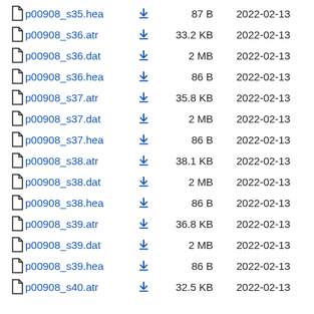p00908_s35.hea  87 B  2022-02-13
p00908_s36.atr  33.2 KB  2022-02-13
p00908_s36.dat  2 MB  2022-02-13
p00908_s36.hea  86 B  2022-02-13
p00908_s37.atr  35.8 KB  2022-02-13
p00908_s37.dat  2 MB  2022-02-13
p00908_s37.hea  86 B  2022-02-13
p00908_s38.atr  38.1 KB  2022-02-13
p00908_s38.dat  2 MB  2022-02-13
p00908_s38.hea  86 B  2022-02-13
p00908_s39.atr  36.8 KB  2022-02-13
p00908_s39.dat  2 MB  2022-02-13
p00908_s39.hea  86 B  2022-02-13
p00908_s40.atr  32.5 KB  2022-02-13